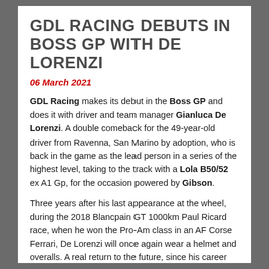GDL RACING DEBUTS IN BOSS GP WITH DE LORENZI
06 March 2021
GDL Racing makes its debut in the Boss GP and does it with driver and team manager Gianluca De Lorenzi. A double comeback for the 49-year-old driver from Ravenna, San Marino by adoption, who is back in the game as the lead person in a series of the highest level, taking to the track with a Lola B50/52 ex A1 Gp, for the occasion powered by Gibson.
Three years after his last appearance at the wheel, during the 2018 Blancpain GT 1000km Paul Ricard race, when he won the Pro-Am class in an AF Corse Ferrari, De Lorenzi will once again wear a helmet and overalls. A real return to the future, since his career began with the single-seaters in which he raced for several seasons in Formula 3 immediately after his career in karts.